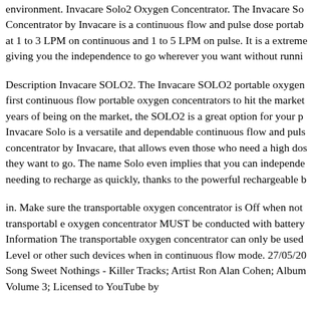environment. Invacare Solo2 Oxygen Concentrator. The Invacare Solo Concentrator by Invacare is a continuous flow and pulse dose portable at 1 to 3 LPM on continuous and 1 to 5 LPM on pulse. It is a extremely giving you the independence to go wherever you want without running
Description Invacare SOLO2. The Invacare SOLO2 portable oxygen first continuous flow portable oxygen concentrators to hit the market years of being on the market, the SOLO2 is a great option for your portable oxygen needs. Invacare Solo is a versatile and dependable continuous flow and pulse concentrator by Invacare, that allows even those who need a high dose they want to go. The name Solo even implies that you can independently needing to recharge as quickly, thanks to the powerful rechargeable b
in. Make sure the transportable oxygen concentrator is Off when not transportable oxygen concentrator MUST be conducted with battery Information The transportable oxygen concentrator can only be used Level or other such devices when in continuous flow mode. 27/05/20 Song Sweet Nothings - Killer Tracks; Artist Ron Alan Cohen; Album Volume 3; Licensed to YouTube by